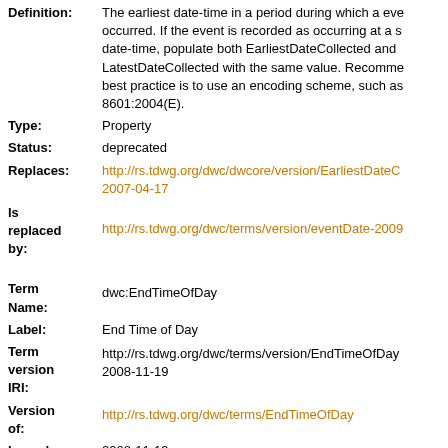Definition: The earliest date-time in a period during which a event occurred. If the event is recorded as occurring at a single date-time, populate both EarliestDateCollected and LatestDateCollected with the same value. Recommended best practice is to use an encoding scheme, such as 8601:2004(E).
Type: Property
Status: deprecated
Replaces: http://rs.tdwg.org/dwc/dwcore/version/EarliestDateCollected/2007-04-17
Is replaced by: http://rs.tdwg.org/dwc/terms/version/eventDate-2009
Term Name: dwc:EndTimeOfDay
Label: End Time of Day
Term version IRI: http://rs.tdwg.org/dwc/terms/version/EndTimeOfDay/2008-11-19
Version of: http://rs.tdwg.org/dwc/terms/EndTimeOfDay
Issued: 2008-11-19
The time of day when the event ended, expressed...